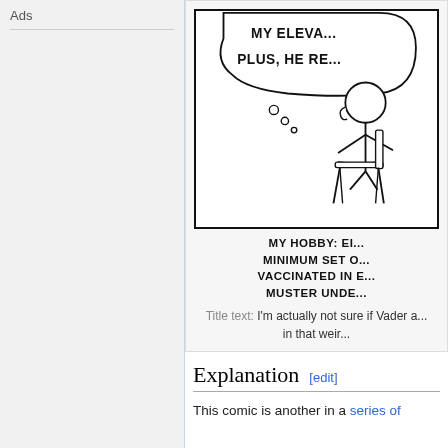Ads
[Figure (illustration): Partial xkcd comic panel showing a stick figure seated in a chair with a thought bubble containing text starting with 'MY ELEVA...' and 'PLUS, HE RE...']
MY HOBBY: EI... MINIMUM SET O... VACCINATED IN E... MUSTER UNDE...
Title text: I'm actually not sure if Vader a... in that weir...
Explanation [edit]
This comic is another in a series of